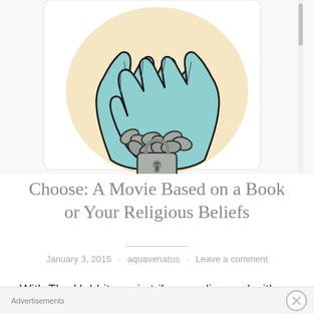[Figure (illustration): Illustration of two chained hands reaching upward, with chains and a padlock binding the wrists, on a warm beige background.]
Choose: A Movie Based on a Book or Your Religious Beliefs
January 3, 2015 · aquavenatus · Leave a comment
With The Hobbit movie trilogy ending and with one more The Hunger Games movie left to be released, the
Advertisements